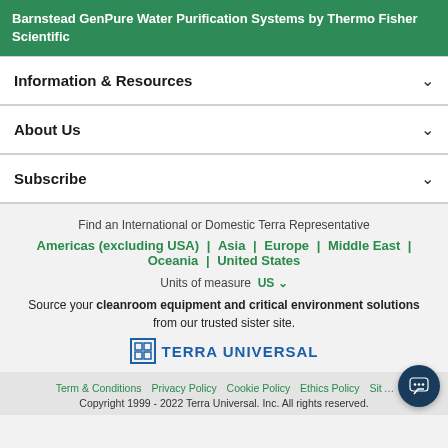Barnstead GenPure Water Purification Systems by Thermo Fisher Scientific
Information & Resources
About Us
Subscribe
Find an International or Domestic Terra Representative
Americas (excluding USA) | Asia | Europe | Middle East | Oceania | United States
Units of measure US
Source your cleanroom equipment and critical environment solutions from our trusted sister site.
[Figure (logo): Terra Universal logo with blue grid icon and bold blue text]
Term & Conditions  Privacy Policy  Cookie Policy  Ethics Policy  Sit…  Copyright 1999 - 2022 Terra Universal. Inc. All rights reserved.